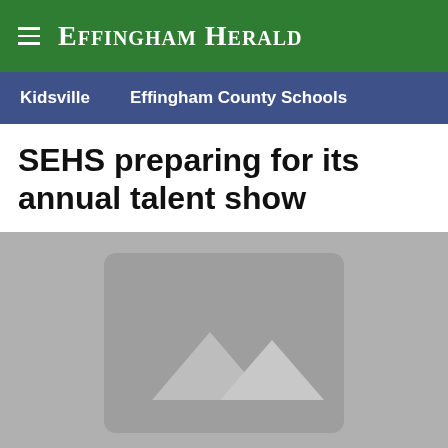Effingham Herald
Kidsville   Effingham County Schools
SEHS preparing for its annual talent show
[Figure (photo): Placeholder image with mountain/landscape icon on grey background]